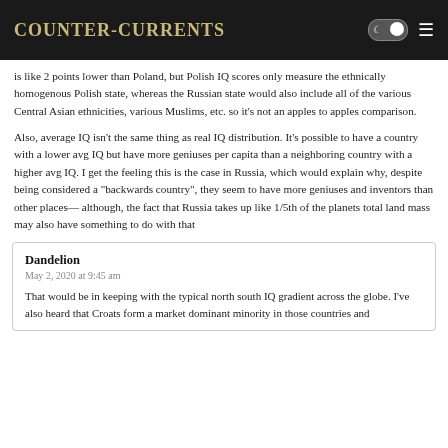Counter-Currents
is like 2 points lower than Poland, but Polish IQ scores only measure the ethnically homogenous Polish state, whereas the Russian state would also include all of the various Central Asian ethnicities, various Muslims, etc. so it’s not an apples to apples comparison.
Also, average IQ isn’t the same thing as real IQ distribution. It’s possible to have a country with a lower avg IQ but have more geniuses per capita than a neighboring country with a higher avg IQ. I get the feeling this is the case in Russia, which would explain why, despite being considered a “backwards country”, they seem to have more geniuses and inventors than other places— although, the fact that Russia takes up like 1/5th of the planets total land mass may also have something to do with that
Dandelion
May 2, 2020 at 9:45 am
That would be in keeping with the typical north south IQ gradient across the globe. I’ve also heard that Croats form a market dominant minority in those countries and